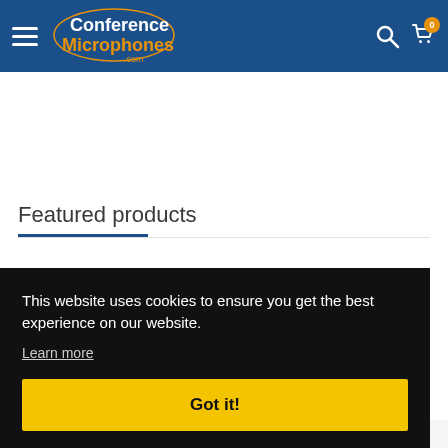Conference Microphones .com
Featured products
This website uses cookies to ensure you get the best experience on our website.
Learn more
Got it!